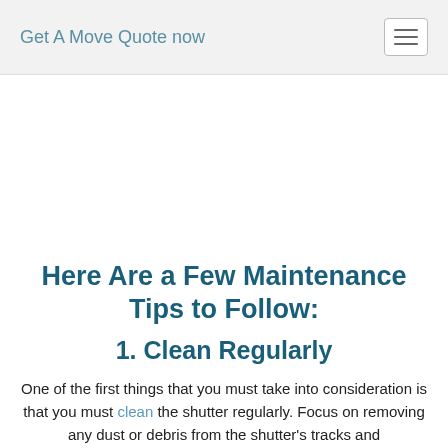Get A Move Quote now
Here Are a Few Maintenance Tips to Follow:
1. Clean Regularly
One of the first things that you must take into consideration is that you must clean the shutter regularly. Focus on removing any dust or debris from the shutter's tracks and